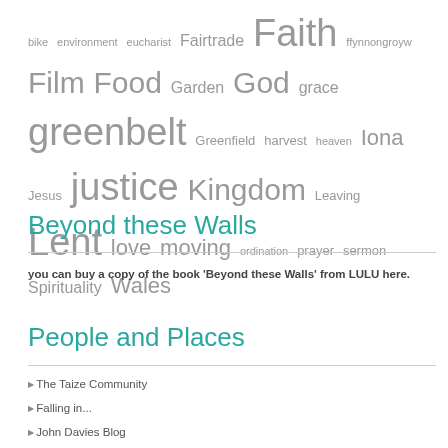bike environment eucharist Fairtrade Faith ffynnongroyw Film Food Garden God grace greenbelt Greenfield harvest heaven Iona Jesus justice Kingdom Leaving Lent love moving ordination prayer sermon Spirituality Wales
Beyond these Walls
you can buy a copy of the book 'Beyond these Walls' from LULU here.
People and Places
The Taize Community
Falling in...
John Davies Blog